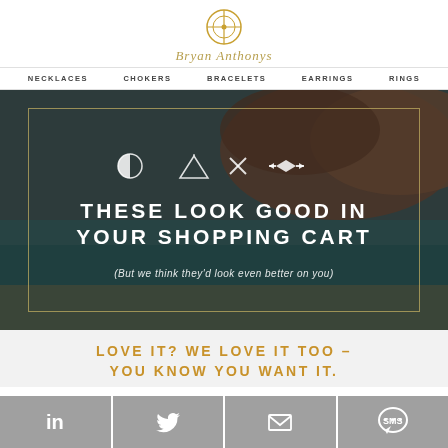[Figure (logo): Bryan Anthonys brand logo - circular gold emblem with crosshair design and script text below]
NECKLACES   CHOKERS   BRACELETS   EARRINGS   RINGS
[Figure (photo): Hero banner image with scenic river/canyon background, decorative icons, large text 'THESE LOOK GOOD IN YOUR SHOPPING CART' and subtitle '(But we think they'd look even better on you)']
LOVE IT? WE LOVE IT TOO - YOU KNOW YOU WANT IT.
[Figure (infographic): Social sharing buttons row: LinkedIn, Twitter, Email, SMS]